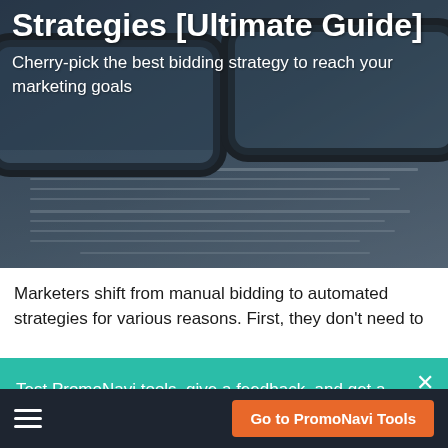[Figure (photo): Hero image showing reading glasses resting on a document/paper, with a dark blue-grey overlay. Used as background for article header.]
Strategies [Ultimate Guide]
Cherry-pick the best bidding strategy to reach your marketing goals
Marketers shift from manual bidding to automated strategies for various reasons. First, they don't need to
Test PromoNavi tools, give a feedback, and get a $100 reward!
Go to PromoNavi Tools